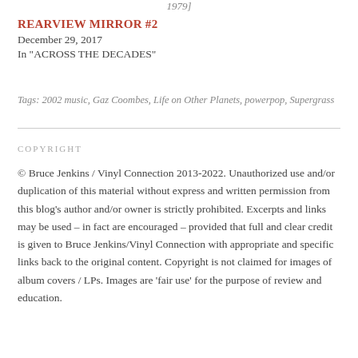1979]
REARVIEW MIRROR #2
December 29, 2017
In "ACROSS THE DECADES"
Tags: 2002 music, Gaz Coombes, Life on Other Planets, powerpop, Supergrass
COPYRIGHT
© Bruce Jenkins / Vinyl Connection 2013-2022. Unauthorized use and/or duplication of this material without express and written permission from this blog's author and/or owner is strictly prohibited. Excerpts and links may be used – in fact are encouraged – provided that full and clear credit is given to Bruce Jenkins/Vinyl Connection with appropriate and specific links back to the original content. Copyright is not claimed for images of album covers / LPs. Images are 'fair use' for the purpose of review and education.